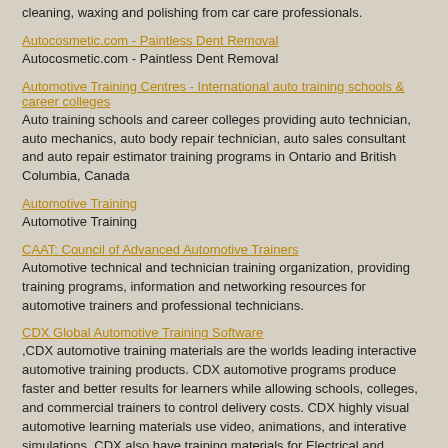cleaning, waxing and polishing from car care professionals.
Autocosmetic.com - Paintless Dent Removal
Autocosmetic.com - Paintless Dent Removal
Automotive Training Centres - International auto training schools & career colleges
Auto training schools and career colleges providing auto technician, auto mechanics, auto body repair technician, auto sales consultant and auto repair estimator training programs in Ontario and British Columbia, Canada
Automotive Training
Automotive Training
CAAT: Council of Advanced Automotive Trainers
Automotive technical and technician training organization, providing training programs, information and networking resources for automotive trainers and professional technicians.
CDX Global Automotive Training Software
,CDX automotive training materials are the worlds leading interactive automotive training products. CDX automotive programs produce faster and better results for learners while allowing schools, colleges, and commercial trainers to control delivery costs. CDX highly visual automotive learning materials use video, animations, and interative simulations. CDX also have training materials for Electrical and Electronics, and Workplace Communications.